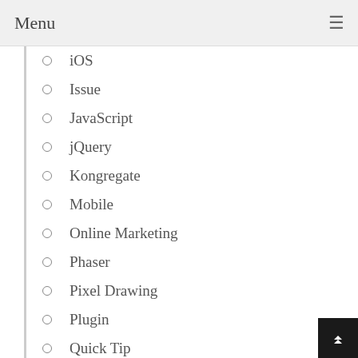Menu
iOS
Issue
JavaScript
jQuery
Kongregate
Mobile
Online Marketing
Phaser
Pixel Drawing
Plugin
Quick Tip
SEO
Tool